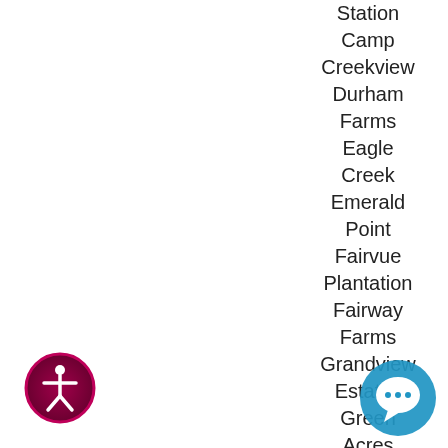Station Camp
Creekview
Durham Farms
Eagle Creek
Emerald Point
Fairvue Plantation
Fairway Farms
Grandview Estates
Green Acres
Hunt Club
Ken... Fa...
Meadow...
[Figure (logo): Accessibility icon — person in circle with dark red/pink gradient border]
[Figure (logo): Chat/message icon — teal/blue circle with speech bubble symbol]